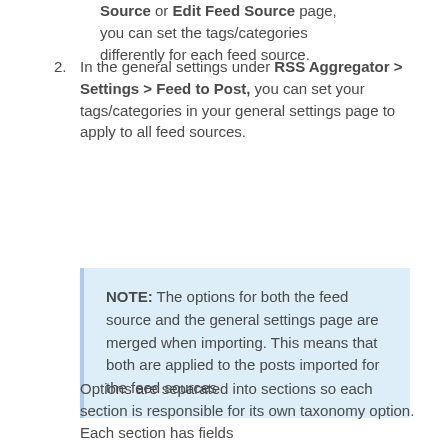Source or Edit Feed Source page, you can set the tags/categories differently for each feed source.
2. In the general settings under RSS Aggregator > Settings > Feed to Post, you can set your tags/categories in your general settings page to apply to all feed sources.
NOTE: The options for both the feed source and the general settings page are merged when importing. This means that both are applied to the posts imported for the feed sources
Options are separated into sections so each section is responsible for its own taxonomy option. Each section has fields